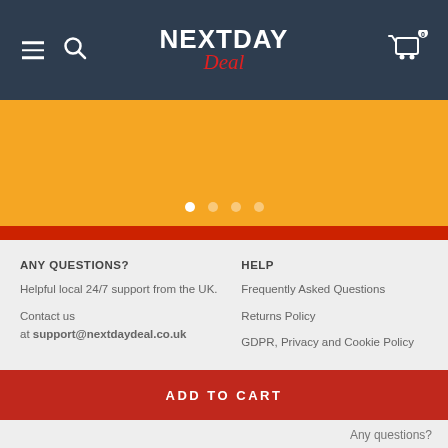NEXTDAY Deal
[Figure (screenshot): Orange banner with carousel dots (1 active, 3 inactive)]
ANY QUESTIONS?
Helpful local 24/7 support from the UK.
Contact us at support@nextdaydeal.co.uk
HELP
Frequently Asked Questions
Returns Policy
GDPR, Privacy and Cookie Policy
ADD TO CART
Any questions?